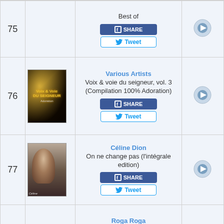| Rank | Album Art | Title/Artist | iTunes |
| --- | --- | --- | --- |
| 75 |  | Best of |  |
| 76 | Voix & Voie du Seigneur | Various Artists
Voix & voie du seigneur, vol. 3 (Compilation 100% Adoration) |  |
| 77 | Céline Dion | Céline Dion
On ne change pas (l'intégrale edition) |  |
| 78 |  | Roga Roga
Bokoko (feat. Extra Musica) - EP |  |